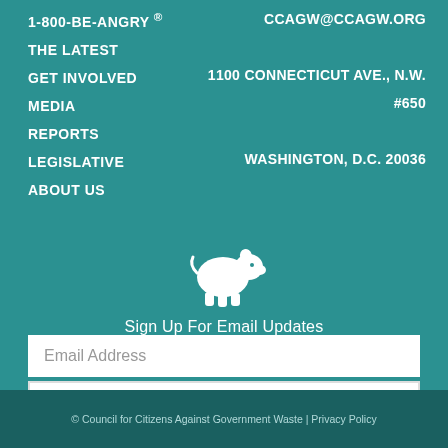1-800-BE-ANGRY ®
THE LATEST
GET INVOLVED
MEDIA
REPORTS
LEGISLATIVE
ABOUT US
CCAGW@CCAGW.ORG
1100 CONNECTICUT AVE., N.W. #650
WASHINGTON, D.C. 20036
[Figure (logo): White pig silhouette icon on teal background]
Sign Up For Email Updates
Email Address
SUBSCRIBE
© Council for Citizens Against Government Waste | Privacy Policy